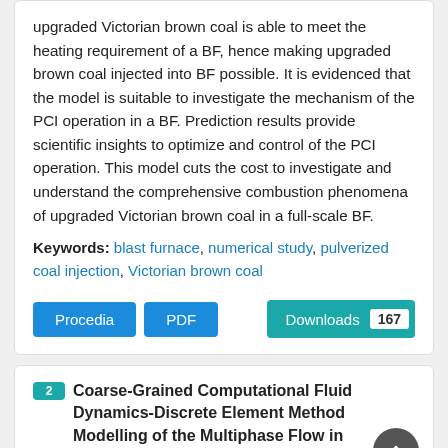upgraded Victorian brown coal is able to meet the heating requirement of a BF, hence making upgraded brown coal injected into BF possible. It is evidenced that the model is suitable to investigate the mechanism of the PCI operation in a BF. Prediction results provide scientific insights to optimize and control of the PCI operation. This model cuts the cost to investigate and understand the comprehensive combustion phenomena of upgraded Victorian brown coal in a full-scale BF.
Keywords: blast furnace, numerical study, pulverized coal injection, Victorian brown coal
Procedia  PDF  Downloads 167
2 Coarse-Grained Computational Fluid Dynamics-Discrete Element Method Modelling of the Multiphase Flow in Hydrocyclones